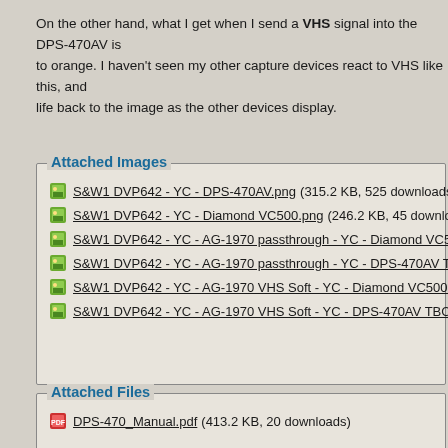On the other hand, what I get when I send a VHS signal into the DPS-470AV is to orange. I haven't seen my other capture devices react to VHS like this, and life back to the image as the other devices display.
Attached Images
S&W1 DVP642 - YC - DPS-470AV.png (315.2 KB, 525 downloads)
S&W1 DVP642 - YC - Diamond VC500.png (246.2 KB, 45 downloads)
S&W1 DVP642 - YC - AG-1970 passthrough - YC - Diamond VC500.png (263...
S&W1 DVP642 - YC - AG-1970 passthrough - YC - DPS-470AV TBC Extreme...
S&W1 DVP642 - YC - AG-1970 VHS Soft - YC - Diamond VC500.png (506.7 K...
S&W1 DVP642 - YC - AG-1970 VHS Soft - YC - DPS-470AV TBC Extreme - C...
Attached Files
DPS-470_Manual.pdf (413.2 KB, 20 downloads)